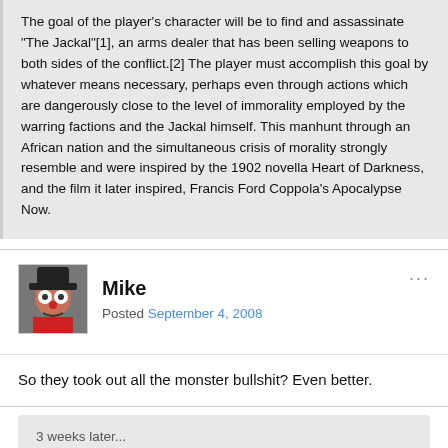The goal of the player's character will be to find and assassinate "The Jackal"[1], an arms dealer that has been selling weapons to both sides of the conflict.[2] The player must accomplish this goal by whatever means necessary, perhaps even through actions which are dangerously close to the level of immorality employed by the warring factions and the Jackal himself. This manhunt through an African nation and the simultaneous crisis of morality strongly resemble and were inspired by the 1902 novella Heart of Darkness, and the film it later inspired, Francis Ford Coppola's Apocalypse Now.
Mike
Posted September 4, 2008
So they took out all the monster bullshit? Even better.
3 weeks later...